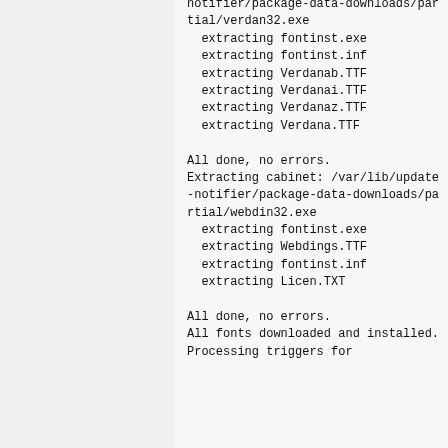notifier/package-data-downloads/partial/verdan32.exe
  extracting fontinst.exe
  extracting fontinst.inf
  extracting Verdanab.TTF
  extracting Verdanai.TTF
  extracting Verdanaz.TTF
  extracting Verdana.TTF

All done, no errors.
Extracting cabinet: /var/lib/update-notifier/package-data-downloads/partial/webdin32.exe
  extracting fontinst.exe
  extracting Webdings.TTF
  extracting fontinst.inf
  extracting Licen.TXT

All done, no errors.
All fonts downloaded and installed.
Processing triggers for